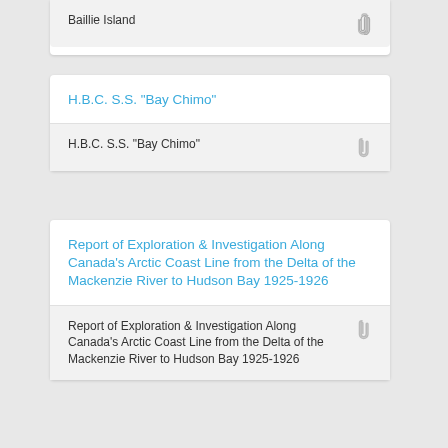Baillie Island
H.B.C. S.S. "Bay Chimo"
H.B.C. S.S. "Bay Chimo"
Report of Exploration & Investigation Along Canada's Arctic Coast Line from the Delta of the Mackenzie River to Hudson Bay 1925-1926
Report of Exploration & Investigation Along Canada's Arctic Coast Line from the Delta of the Mackenzie River to Hudson Bay 1925-1926